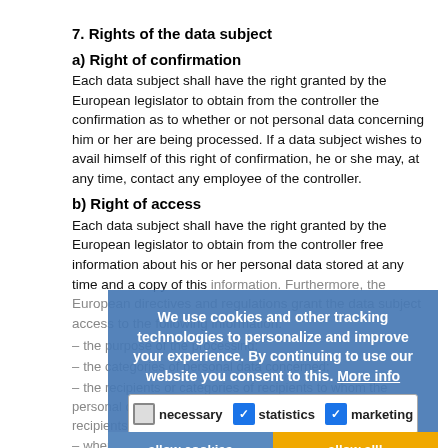7. Rights of the data subject
a) Right of confirmation
Each data subject shall have the right granted by the European legislator to obtain from the controller the confirmation as to whether or not personal data concerning him or her are being processed. If a data subject wishes to avail himself of this right of confirmation, he or she may, at any time, contact any employee of the controller.
b) Right of access
Each data subject shall have the right granted by the European legislator to obtain from the controller free information about his or her personal data stored at any time and a copy of this information. Furthermore, the European directives and regulations grant the data subject access to the following information:
the purpose of the processing;
the categories of personal data concerned;
the recipients or categories of recipients to whom the personal data have been or will be disclosed, in particular recipients in third countries or international organisations;
where possible, the envisaged period for which the personal data will be stored, or, if not possible, the criteria used to determine that period;
the existence of the right to request from the controller
We use cookies and other tracking technologies to personalize and improve your experience. By continuing to use our website you consent to this. More info
necessary | statistics | marketing
allow cookies | allow all!